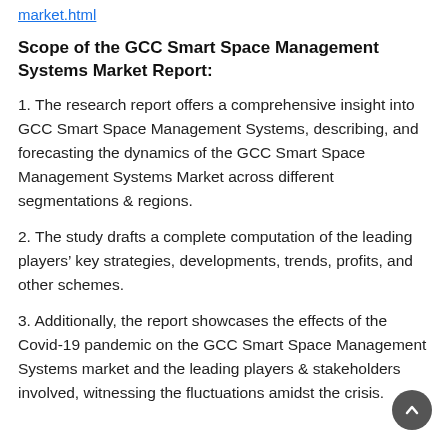market.html
Scope of the GCC Smart Space Management Systems Market Report:
1. The research report offers a comprehensive insight into GCC Smart Space Management Systems, describing, and forecasting the dynamics of the GCC Smart Space Management Systems Market across different segmentations & regions.
2. The study drafts a complete computation of the leading players’ key strategies, developments, trends, profits, and other schemes.
3. Additionally, the report showcases the effects of the Covid-19 pandemic on the GCC Smart Space Management Systems market and the leading players & stakeholders involved, witnessing the fluctuations amidst the crisis.